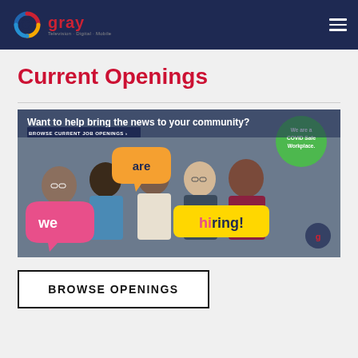Gray Television · Digital · Mobile
Current Openings
[Figure (photo): Promotional banner showing five diverse smiling people holding speech bubble signs reading 'we are hiring!' with text overlay 'Want to help bring the news to your community? BROWSE CURRENT JOB OPENINGS' and a green bubble 'We are a COVID Safe Workplace.' Gray logo in corner.]
BROWSE OPENINGS